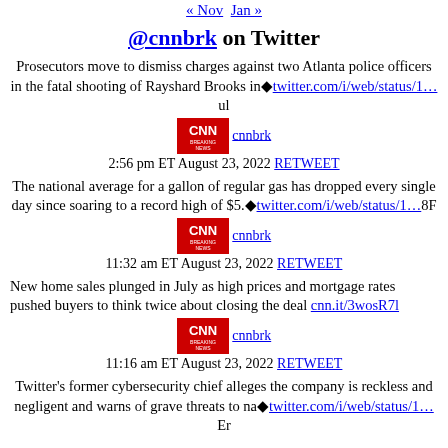« Nov   Jan »
@cnnbrk on Twitter
Prosecutors move to dismiss charges against two Atlanta police officers in the fatal shooting of Rayshard Brooks in◆twitter.com/i/web/status/1…ul
cnnbrk  2:56 pm ET August 23, 2022 RETWEET
The national average for a gallon of regular gas has dropped every single day since soaring to a record high of $5.◆twitter.com/i/web/status/1…8F
cnnbrk  11:32 am ET August 23, 2022 RETWEET
New home sales plunged in July as high prices and mortgage rates pushed buyers to think twice about closing the deal cnn.it/3wosR7l
cnnbrk  11:16 am ET August 23, 2022 RETWEET
Twitter's former cybersecurity chief alleges the company is reckless and negligent and warns of grave threats to na◆twitter.com/i/web/status/1… Er